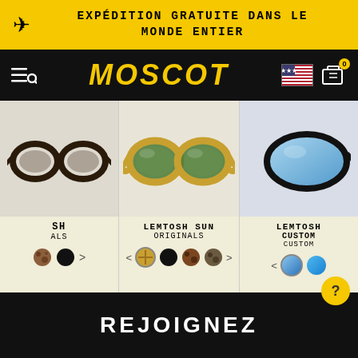EXPÉDITION GRATUITE DANS LE MONDE ENTIER
[Figure (screenshot): MOSCOT eyewear brand navigation bar with yellow logo on black background, US flag icon, and cart icon]
[Figure (photo): Three MOSCOT eyewear product columns: left col shows dark tortoise optical frames (SH, ALS), center shows LEMTOSH SUN ORIGINALS with amber/honey frames and green lenses, right shows LEMTOSH CUSTOM with black frames and blue gradient lenses. Color swatches shown below each product.]
LEMTOSH SUN
ORIGINALS
LEMTOSH
CUSTOM
REJOIGNEZ